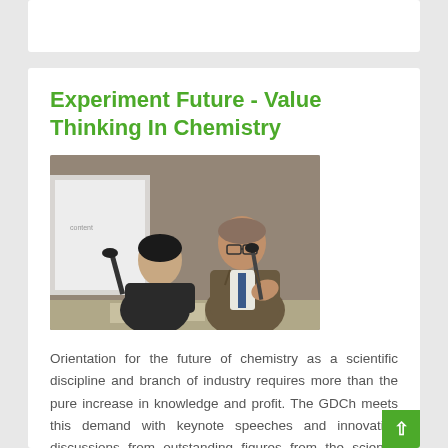Experiment Future - Value Thinking In Chemistry
[Figure (photo): Two speakers at a panel or conference event. A woman in dark clothing is seated on the left, and a man in a suit is speaking at a microphone on the right. There is a brick wall visible in the background.]
Orientation for the future of chemistry as a scientific discipline and branch of industry requires more than the pure increase in knowledge and profit. The GDCh meets this demand with keynote speeches and innovative discussions from outstanding figures from the science community with